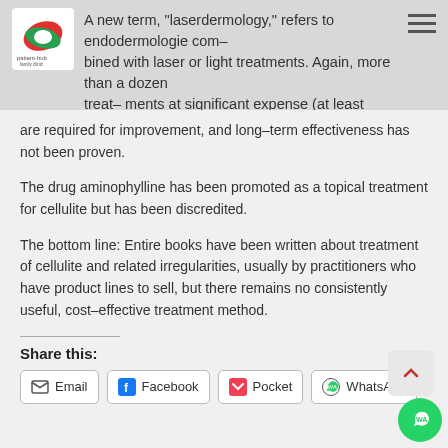A new term, "laserdermology," refers to endodermologie combined with laser or light treatments. Again, more than a dozen treatments at significant expense (at least $100 per treatment)
are required for improvement, and long-term effectiveness has not been proven.
The drug aminophylline has been promoted as a topical treatment for cellulite but has been discredited.
The bottom line: Entire books have been written about treatment of cellulite and related irregularities, usually by practitioners who have product lines to sell, but there remains no consistently useful, cost-effective treatment method.
Share this:
Email | Facebook | Pocket | WhatsApp